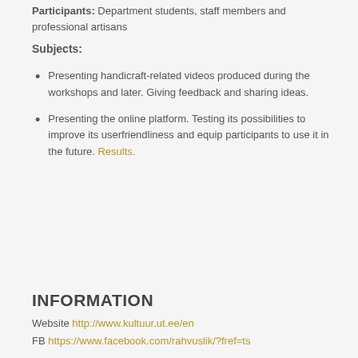Participants: Department students, staff members and professional artisans
Subjects:
Presenting handicraft-related videos produced during the workshops and later. Giving feedback and sharing ideas.
Presenting the online platform. Testing its possibilities to improve its userfriendliness and equip participants to use it in the future. Results.
INFORMATION
Website http://www.kultuur.ut.ee/en
FB https://www.facebook.com/rahvuslik/?fref=ts